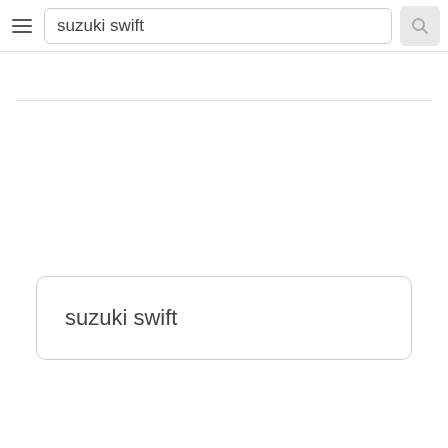[Figure (screenshot): Top navigation bar with hamburger menu icon, search input field containing 'suzuki swift', and a search button with magnifier icon]
suzuki swift